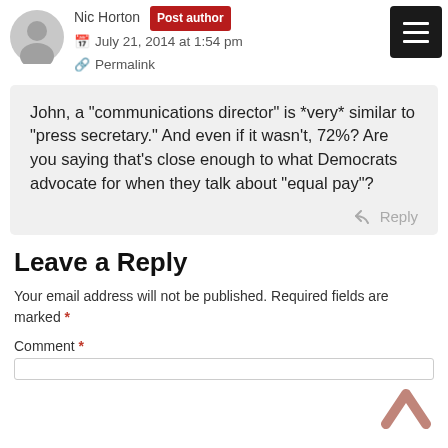[Figure (illustration): Grey circular avatar/silhouette of a person]
Nic Horton Post author
July 21, 2014 at 1:54 pm
Permalink
[Figure (other): Black square button with three horizontal white lines (hamburger menu icon)]
John, a “communications director” is *very* similar to “press secretary.” And even if it wasn’t, 72%? Are you saying that’s close enough to what Democrats advocate for when they talk about “equal pay”?
Reply
Leave a Reply
Your email address will not be published. Required fields are marked *
Comment *
[Figure (illustration): Pink/rose upward caret arrow (back to top button)]